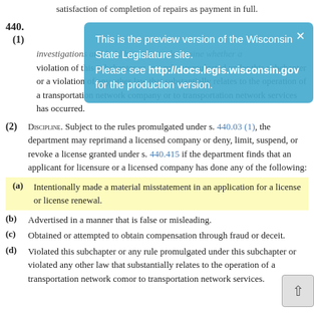satisfaction of completion of repairs as payment in full.
This is the preview version of the Wisconsin State Legislature site. Please see http://docs.legis.wisconsin.gov for the production version.
investigations and hold hearings to determine whether a violation of this subchapter or any rule promulgated under this subchapter or a violation of any other law that substantially relates to the operation of a transportation network company or to transportation network services has occurred.
(2) DISCIPLINE. Subject to the rules promulgated under s. 440.03 (1), the department may reprimand a licensed company or deny, limit, suspend, or revoke a license granted under s. 440.415 if the department finds that an applicant for licensure or a licensed company has done any of the following:
(a) Intentionally made a material misstatement in an application for a license or license renewal.
(b) Advertised in a manner that is false or misleading.
(c) Obtained or attempted to obtain compensation through fraud or deceit.
(d) Violated this subchapter or any rule promulgated under this subchapter or violated any other law that substantially relates to the operation of a transportation network com or to transportation network services.